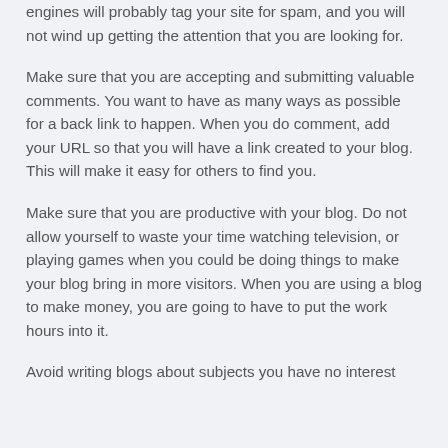engines will probably tag your site for spam, and you will not wind up getting the attention that you are looking for.
Make sure that you are accepting and submitting valuable comments. You want to have as many ways as possible for a back link to happen. When you do comment, add your URL so that you will have a link created to your blog. This will make it easy for others to find you.
Make sure that you are productive with your blog. Do not allow yourself to waste your time watching television, or playing games when you could be doing things to make your blog bring in more visitors. When you are using a blog to make money, you are going to have to put the work hours into it.
Avoid writing blogs about subjects you have no interest